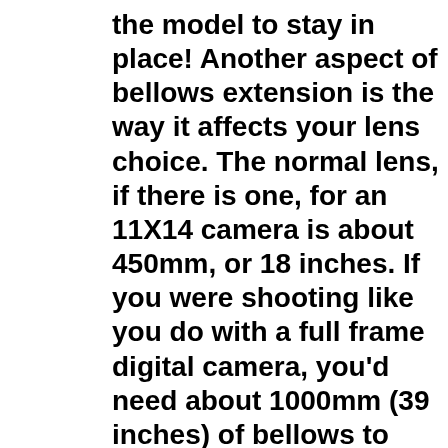the model to stay in place! Another aspect of bellows extension is the way it affects your lens choice. The normal lens, if there is one, for an 11X14 camera is about 450mm, or 18 inches. If you were shooting like you do with a full frame digital camera, you'd need about 1000mm (39 inches) of bellows to bring the lens into focus.